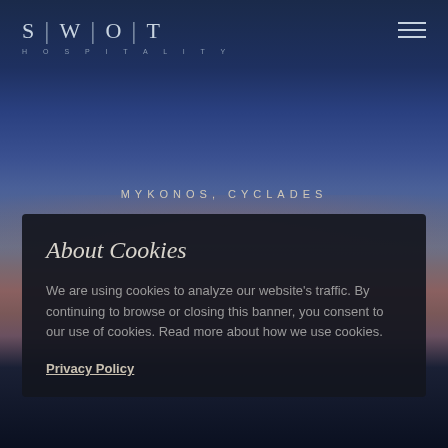[Figure (logo): SWOT Hospitality logo with vertical bars separating letters S | W | O | T and 'HOSPITALITY' below in spaced caps]
MYKONOS, CYCLADES
About Cookies
We are using cookies to analyze our website’s traffic. By continuing to browse or closing this banner, you consent to our use of cookies. Read more about how we use cookies.
Privacy Policy